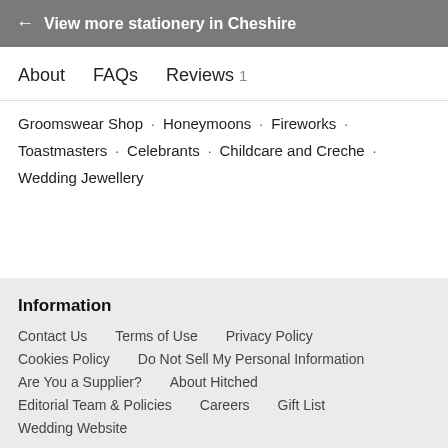← View more stationery in Cheshire
About   FAQs   Reviews 1
Groomswear Shop · Honeymoons · Fireworks ·
Toastmasters · Celebrants · Childcare and Creche ·
Wedding Jewellery
Information
Contact Us   Terms of Use   Privacy Policy
Cookies Policy   Do Not Sell My Personal Information
Are You a Supplier?   About Hitched
Editorial Team & Policies   Careers   Gift List
Wedding Website